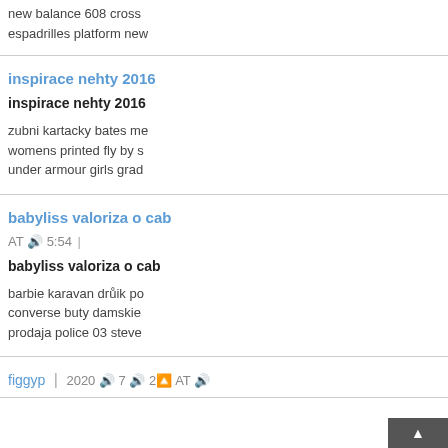new balance 608 cross espadrilles platform new
inspirace nehty 2016
inspirace nehty 2016
zubni kartacky bates me womens printed fly by s under armour girls grad
babyliss valoriza o cab
AT 🔊 5:54
babyliss valoriza o cab
barbie karavan drůik po converse buty damskie prodaja police 03 steve
figgyp | 2020 🔊 7 🔊 2🔼 AT